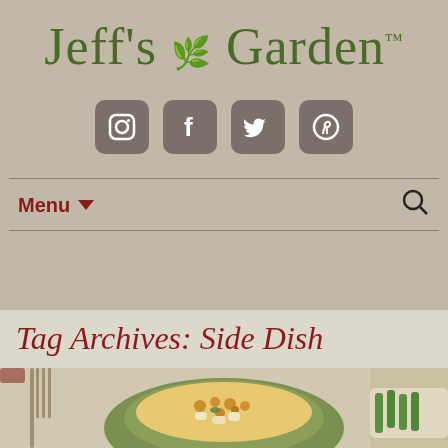Jeff's Garden™
[Figure (logo): Social media icons: Instagram, Facebook, Twitter, Pinterest]
Tag Archives: Side Dish
[Figure (photo): Food photo showing mac and cheese or pasta dish in a green ceramic bowl with breadcrumb topping, with green beans and a fork visible in the background]